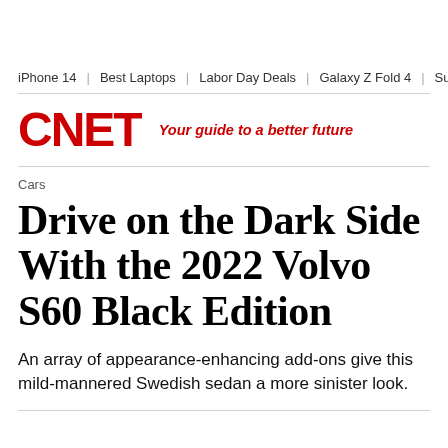iPhone 14 | Best Laptops | Labor Day Deals | Galaxy Z Fold 4 | Surf
[Figure (logo): CNET logo in red bold text with tagline 'Your guide to a better future' in red italic]
Cars
Drive on the Dark Side With the 2022 Volvo S60 Black Edition
An array of appearance-enhancing add-ons give this mild-mannered Swedish sedan a more sinister look.